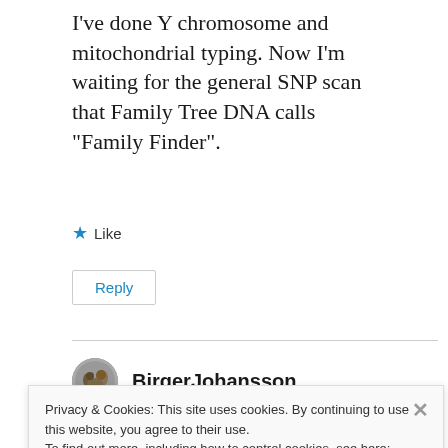I've done Y chromosome and mitochondrial typing. Now I'm waiting for the general SNP scan that Family Tree DNA calls “Family Finder”.
★ Like
Reply
BirgerJohansson
Privacy & Cookies: This site uses cookies. By continuing to use this website, you agree to their use.
To find out more, including how to control cookies, see here:
Cookie Policy
Close and accept